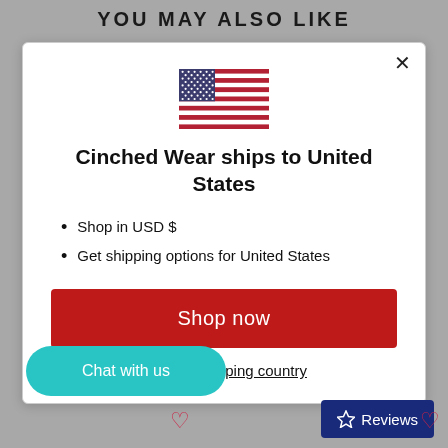YOU MAY ALSO LIKE
[Figure (illustration): US flag SVG icon centered in modal]
Cinched Wear ships to United States
Shop in USD $
Get shipping options for United States
Shop now
Change shipping country
Chat with us
Reviews